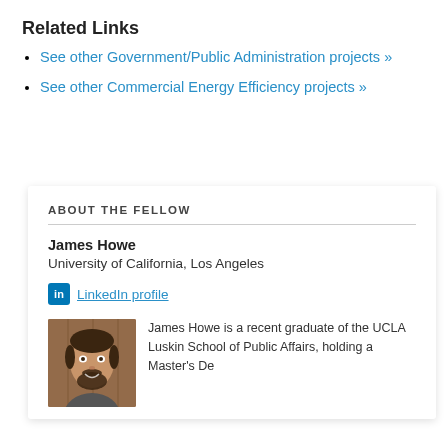Related Links
See other Government/Public Administration projects »
See other Commercial Energy Efficiency projects »
ABOUT THE FELLOW
James Howe
University of California, Los Angeles
LinkedIn profile
[Figure (photo): Headshot of James Howe, a man with dark hair and a beard, smiling]
James Howe is a recent graduate of the UCLA Luskin School of Public Affairs, holding a Master's De-